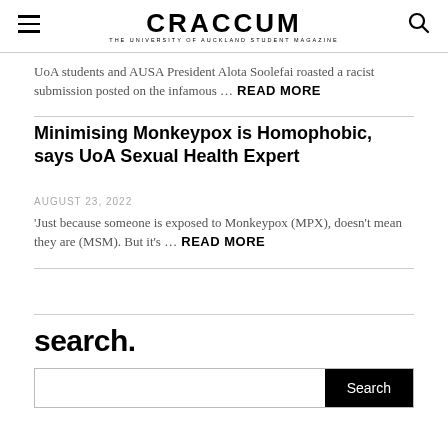CRACCUM — THE UNIVERSITY OF AUCKLAND STUDENT MAGAZINE
UoA students and AUSA President Alota Soolefai roasted a racist submission posted on the infamous … READ MORE
Minimising Monkeypox is Homophobic, says UoA Sexual Health Expert
AUGUST 23, 2022
'Just because someone is exposed to Monkeypox (MPX), doesn't mean they are (MSM). But it's … READ MORE
search.
Search